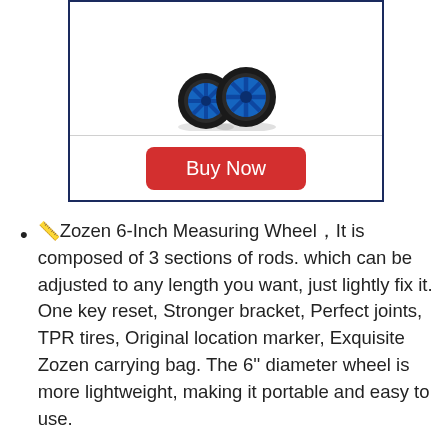[Figure (photo): Product image of two measuring wheel units with black tires and blue spoke rims, shown from the front on a white background.]
Buy Now
📏️Zozen 6-Inch Measuring Wheel，It is composed of 3 sections of rods. which can be adjusted to any length you want, just lightly fix it. One key reset, Stronger bracket, Perfect joints, TPR tires, Original location marker, Exquisite Zozen carrying bag. The 6'' diameter wheel is more lightweight, making it portable and easy to use.